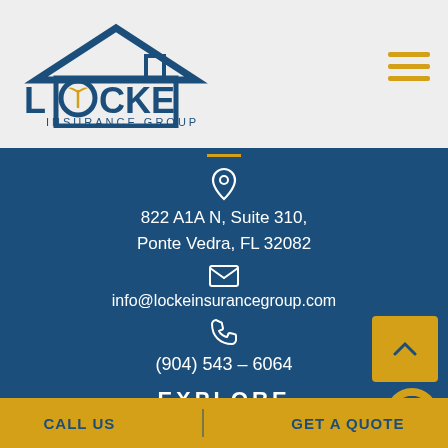[Figure (logo): Locke Insurance Group logo with house/roof icon and palm tree]
822 A1A N, Suite 310, Ponte Vedra, FL 32082
info@lockeinsurancegroup.com
(904) 543 - 6064
EXPLORE
CALL US | GET A QUOTE